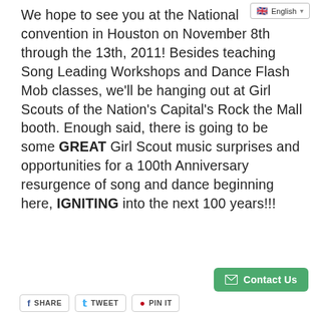We hope to see you at the National convention in Houston on November 8th through the 13th, 2011! Besides teaching Song Leading Workshops and Dance Flash Mob classes, we'll be hanging out at Girl Scouts of the Nation's Capital's Rock the Mall booth. Enough said, there is going to be some GREAT Girl Scout music surprises and opportunities for a 100th Anniversary resurgence of song and dance beginning here, IGNITING into the next 100 years!!!
SHARE   TWEET   PIN IT   Contact Us